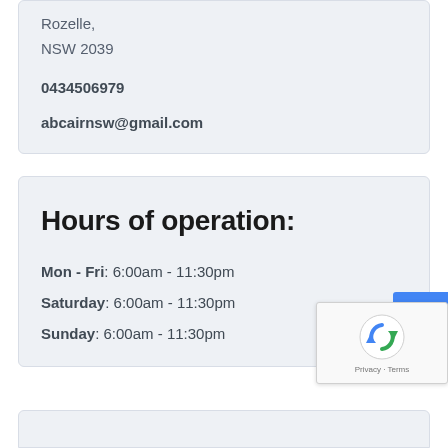Rozelle,
NSW 2039
0434506979
abcairnsw@gmail.com
Hours of operation:
Mon - Fri: 6:00am - 11:30pm
Saturday: 6:00am - 11:30pm
Sunday: 6:00am - 11:30pm